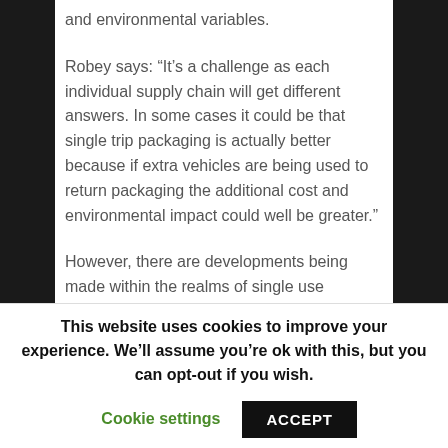and environmental variables.

Robey says: “It’s a challenge as each individual supply chain will get different answers. In some cases it could be that single trip packaging is actually better because if extra vehicles are being used to return packaging the additional cost and environmental impact could well be greater.”

However, there are developments being made within the realms of single use packaging that support the green agenda.
This website uses cookies to improve your experience. We’ll assume you’re ok with this, but you can opt-out if you wish. Cookie settings ACCEPT